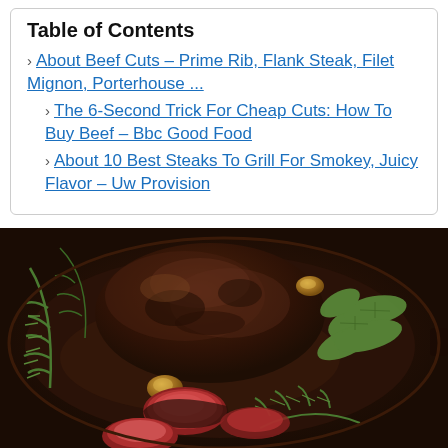Table of Contents
About Beef Cuts – Prime Rib, Flank Steak, Filet Mignon, Porterhouse ...
The 6-Second Trick For Cheap Cuts: How To Buy Beef – Bbc Good Food
About 10 Best Steaks To Grill For Smokey, Juicy Flavor – Uw Provision
[Figure (photo): A cast iron skillet viewed from above containing a large roasted beef cut surrounded by fresh herbs (rosemary, sage, tarragon), roasted garlic cloves, and sliced medium-rare beef medallions with a dark caramelized crust.]